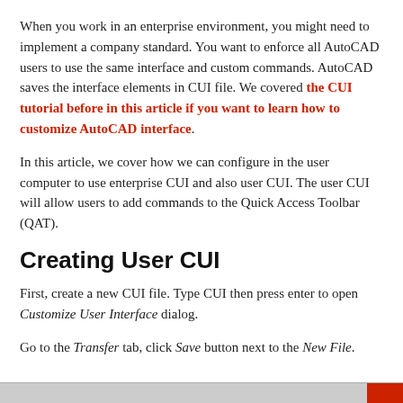When you work in an enterprise environment, you might need to implement a company standard. You want to enforce all AutoCAD users to use the same interface and custom commands. AutoCAD saves the interface elements in CUI file. We covered the CUI tutorial before in this article if you want to learn how to customize AutoCAD interface.
In this article, we cover how we can configure in the user computer to use enterprise CUI and also user CUI. The user CUI will allow users to add commands to the Quick Access Toolbar (QAT).
Creating User CUI
First, create a new CUI file. Type CUI then press enter to open Customize User Interface dialog.
Go to the Transfer tab, click Save button next to the New File.
[Figure (screenshot): Bottom portion of a dialog or toolbar screenshot, partially visible at the bottom of the page with a gray background and a red button on the right.]